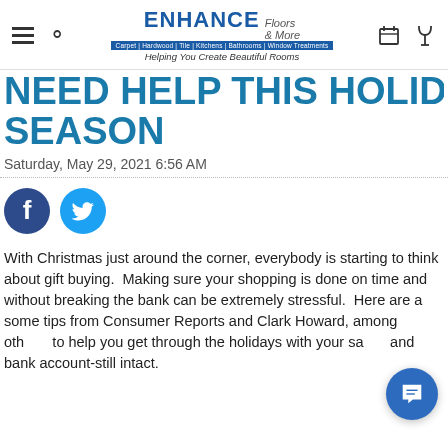ENHANCE Floors & More — Carpet | Hardwood | Tile | Kitchens | Bathrooms | Window Treatments — Helping You Create Beautiful Rooms
NEED HELP THIS HOLIDAY SEASON
Saturday, May 29, 2021 6:56 AM
[Figure (illustration): Facebook and Twitter social share icons (circular buttons)]
With Christmas just around the corner, everybody is starting to think about gift buying.  Making sure your shopping is done on time and without breaking the bank can be extremely stressful.  Here are a some tips from Consumer Reports and Clark Howard, among others, to help you get through the holidays with your sanity and bank account-still intact.